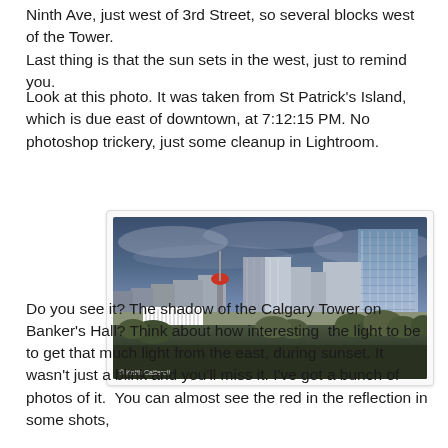Ninth Ave, just west of 3rd Street, so several blocks west of the Tower.
Last thing is that the sun sets in the west, just to remind you.
Look at this photo. It was taken from St Patrick's Island, which is due east of downtown, at 7:12:15 PM. No photoshop trickery, just some cleanup in Lightroom.
[Figure (photo): Cityscape of Calgary skyline taken from St Patrick's Island showing the Calgary Tower and Banker's Hall buildings at dusk with dramatic blue cloudy sky]
Do you see it? The shadow of the Calgary Tower on Banker's Hall? Think about how interesting  the light to be to get that much light from the east, during sunset. It wasn't just a blink and you'll miss it. I've got a bunch of photos of it.  You can almost see the red in the reflection in some shots,